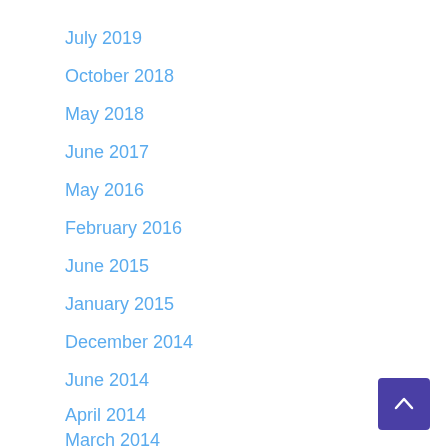July 2019
October 2018
May 2018
June 2017
May 2016
February 2016
June 2015
January 2015
December 2014
June 2014
April 2014
March 2014